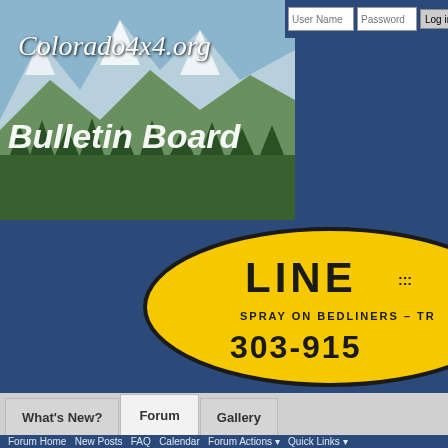[Figure (screenshot): Colorado4x4.org Bulletin Board website header with mountain landscape banner showing snowy peaks and forest, dark blue background, italic white text reading Colorado4x4.org and bold italic Bulletin Board]
[Figure (screenshot): LINE-X spray on bedliners advertisement oval logo in yellow and black with phone number 303-915...]
User Name | Password | Log in | Remember
What's New? | Forum | Gallery
Forum Home | New Posts | FAQ | Calendar | Forum Actions | Quick Links
Forum > CO4x4 Interests > Chit Chat > Wildfire PSA
If this is your first visit, be sure to check out the FAQ by clicking the link above. before you can post: click the register link above to proceed. To start viewing m you want to visit from the selection below.
Thread: Wildfire PSA